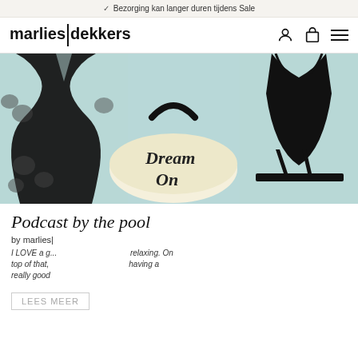Bezorging kan langer duren tijdens Sale
marlies|dekkers
[Figure (photo): Hero image of Marlies Dekkers fashion items: black lace dress on left, straw basket bag with 'Dream On' text in center, black swimsuit and black sandals on right, all on a light teal background]
Podcast by the pool
by marlies|
I LOVE a g... relaxing. On top of that, ... having a really good...
[Figure (screenshot): App download popup: marlies|dekkers app, Overal en altijd makkelijk shoppen op je iPhone, 4.5 stars 3120 ratings, DOWNLOAD button in orange, Open direct link]
LEES MEER